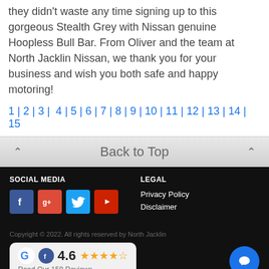they didn't waste any time signing up to this gorgeous Stealth Grey with Nissan genuine Hoopless Bull Bar. From Oliver and the team at North Jacklin Nissan, we thank you for your business and wish you both safe and happy motoring!
1 | 2 | 3 | 4 | 5 | 6 | 7 | 8 | 9 | 10 | 11 | 12 | 13 | 14 | 15
Back to Top
SOCIAL MEDIA
[Figure (other): Social media icons: Facebook, Google+, Twitter, YouTube]
LEGAL
Privacy Policy
Disclaimer
Copyright © 2022. All rights reserved by North Jacklin
[Figure (other): Review widget showing 4.6 stars rating with Google and Facebook logos and text 'Read Our 159 Reviews']